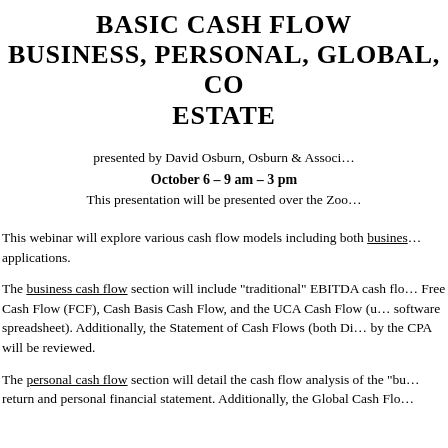BASIC CASH FLOW
BUSINESS, PERSONAL, GLOBAL, CO... ESTATE
presented by David Osburn, Osburn & Associ...
October 6 – 9 am – 3 pm
This presentation will be presented over the Zoo...
This webinar will explore various cash flow models including both business... applications.
The business cash flow section will include "traditional" EBITDA cash flo... Free Cash Flow (FCF), Cash Basis Cash Flow, and the UCA Cash Flow (u... software spreadsheet). Additionally, the Statement of Cash Flows (both Di... by the CPA will be reviewed.
The personal cash flow section will detail the cash flow analysis of the "bu... return and personal financial statement. Additionally, the Global Cash Flo...